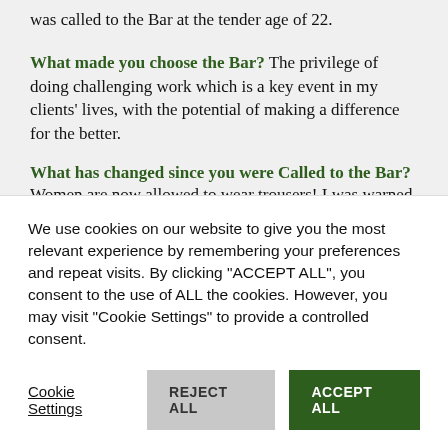was called to the Bar at the tender age of 22.
What made you choose the Bar? The privilege of doing challenging work which is a key event in my clients' lives, with the potential of making a difference for the better.
What has changed since you were Called to the Bar? Women are now allowed to wear trousers!  I was warned not to when I was a pupil, even though female barristers had just been given permission to do so.
On a more serious note, there's a far greater ambition to achieve equality at the Bar, but there's still plenty more work to be done.  The experience of Covid-19 shows that many women have taken on a greater share than their male counterparts of domestic and caring responsibilities at the expense of their work or their own
We use cookies on our website to give you the most relevant experience by remembering your preferences and repeat visits. By clicking "ACCEPT ALL", you consent to the use of ALL the cookies. However, you may visit "Cookie Settings" to provide a controlled consent.